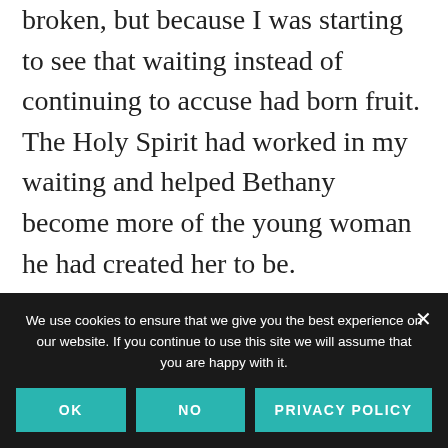broken, but because I was starting to see that waiting instead of continuing to accuse had born fruit. The Holy Spirit had worked in my waiting and helped Bethany become more of the young woman he had created her to be.

Sometimes, as a parent, you just have to wait. Kids make mistakes. They don't learn as quickly as we hope. They don't change
We use cookies to ensure that we give you the best experience on our website. If you continue to use this site we will assume that you are happy with it.